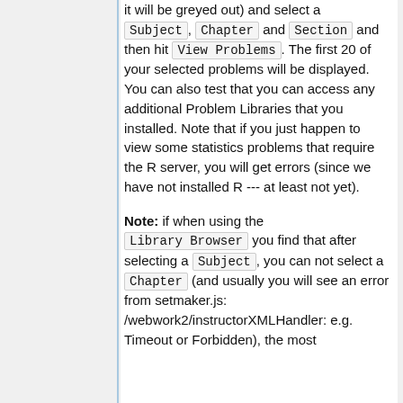it will be greyed out) and select a Subject, Chapter and Section and then hit View Problems. The first 20 of your selected problems will be displayed. You can also test that you can access any additional Problem Libraries that you installed. Note that if you just happen to view some statistics problems that require the R server, you will get errors (since we have not installed R --- at least not yet).
Note: if when using the Library Browser you find that after selecting a Subject, you can not select a Chapter (and usually you will see an error from setmaker.js: /webwork2/instructorXMLHandler: e.g. Timeout or Forbidden), the most